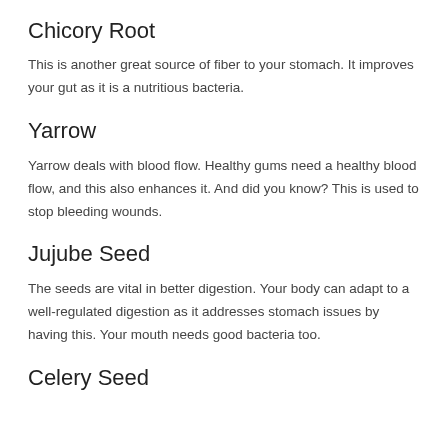Chicory Root
This is another great source of fiber to your stomach. It improves your gut as it is a nutritious bacteria.
Yarrow
Yarrow deals with blood flow. Healthy gums need a healthy blood flow, and this also enhances it. And did you know? This is used to stop bleeding wounds.
Jujube Seed
The seeds are vital in better digestion. Your body can adapt to a well-regulated digestion as it addresses stomach issues by having this. Your mouth needs good bacteria too.
Celery Seed